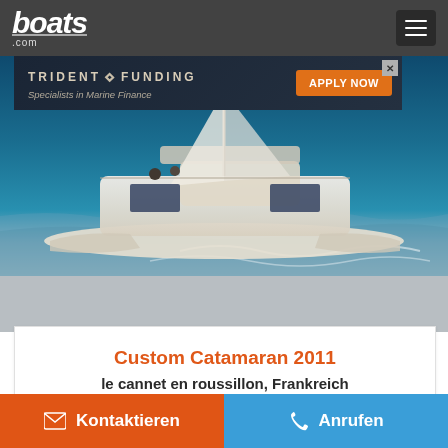boats.com
[Figure (screenshot): Advertisement banner for Trident Funding — 'Specialists in Marine Finance' with an orange 'APPLY NOW' button and a photo of a speedboat]
[Figure (photo): Aerial photo of a large white custom catamaran sailing on blue ocean water]
Custom Catamaran 2011
le cannet en roussillon, Frankreich
€3.600.000
Kontaktieren
Anrufen